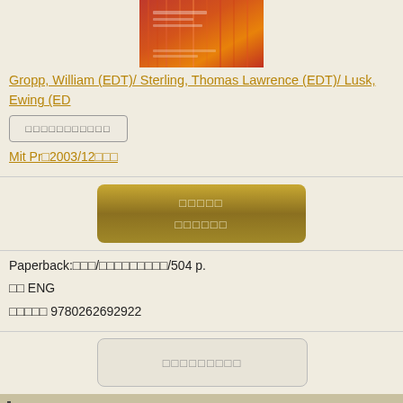[Figure (illustration): Book cover with red-orange gradient stripes, text partially visible including editor names]
Gropp, William (EDT)/ Sterling, Thomas Lawrence (EDT)/ Lusk, Ewing (ED
□□□□□□□□□□□
Mit Pr□2003/12□□□
□□□□□
□□□□□□
Paperback:□□□/□□□□□□□□□/504 p.
□□ ENG
□□□□□ 9780262692922
□□□□□□□□□
|Full Description
The completely updated second edition of a guide to Beowulf cluster computing.Use of Beowulf clusters (collections of off-the-shelf commodity computers programmed to act in concert, resulting in supercomputer performance at a fraction of the cost) has spread far